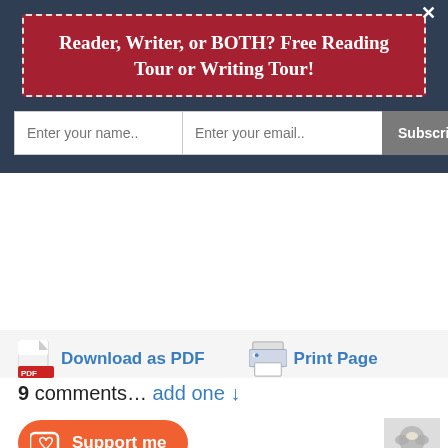Reader, Writer, or BOTH? Free Reading Tour or Writing Tour!
Enter your name.. | Enter your email.. | Subscribe Now
Download as PDF | Print Page
9 comments… add one ↓
Support me
Nov 8, 2018 @ 17:06